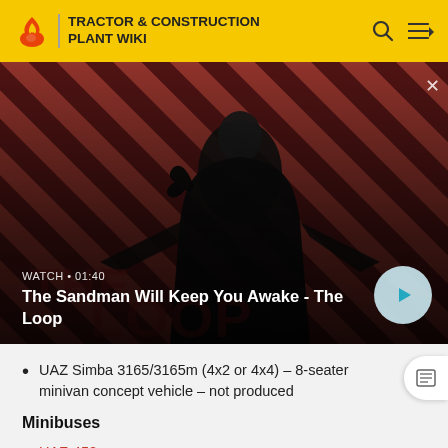TRACTOR & CONSTRUCTION PLANT WIKI
[Figure (screenshot): Video thumbnail showing a dark-cloaked figure with a raven on their shoulder against a red and black diagonal striped background. Text overlay reads 'WATCH • 01:40' and 'The Sandman Will Keep You Awake - The Loop' with a play button.]
UAZ Simba 3165/3165m (4x2 or 4x4) - 8-seater minivan concept vehicle - not produced
Minibuses
UAZ-450